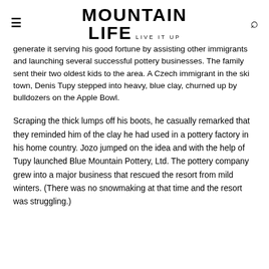MOUNTAIN LIFE LIVE IT UP
generate it serving his good fortune by assisting other immigrants and launching several successful pottery businesses. The family sent their two oldest kids to the area. A Czech immigrant in the ski town, Denis Tupy stepped into heavy, blue clay, churned up by bulldozers on the Apple Bowl.
Scraping the thick lumps off his boots, he casually remarked that they reminded him of the clay he had used in a pottery factory in his home country. Jozo jumped on the idea and with the help of Tupy launched Blue Mountain Pottery, Ltd. The pottery company grew into a major business that rescued the resort from mild winters. (There was no snowmaking at that time and the resort was struggling.)